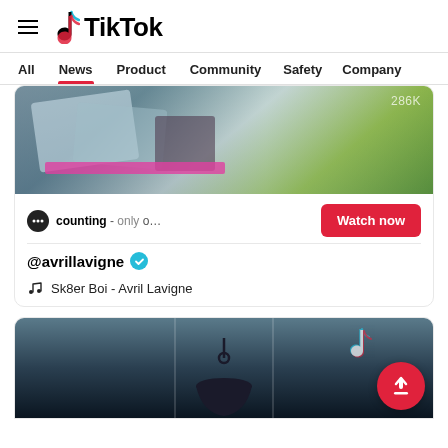TikTok
All
News
Product
Community
Safety
Company
[Figure (screenshot): TikTok video thumbnail showing an abstract colorful background with 286K views overlay]
counting - only on Ti
Watch now
@avrillavigne (verified)
Sk8er Boi - Avril Lavigne
[Figure (screenshot): TikTok video thumbnail showing a dark interior with a hanging lamp silhouette and TikTok logo watermark]